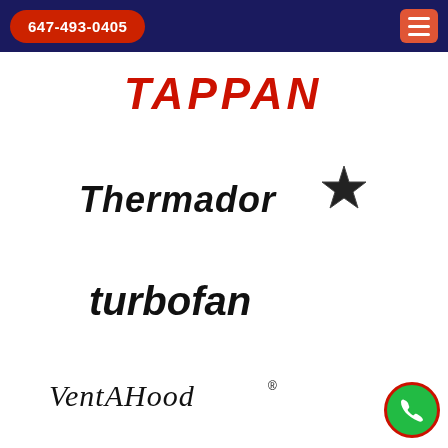647-493-0405
[Figure (logo): TAPPAN brand logo in red italic bold text]
[Figure (logo): Thermador brand logo in black bold italic text with a star icon]
[Figure (logo): turbofan brand logo in black bold italic text]
[Figure (logo): VentAHood brand logo in black cursive/script text with registered trademark symbol]